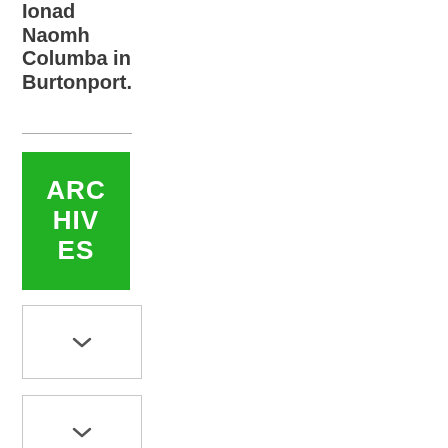Ionad Naomh Columba in Burtonport.
[Figure (other): Green rectangle block with white bold text reading ARCHIVES]
[Figure (other): White dropdown box with chevron icon]
[Figure (other): White dropdown box with chevron icon]